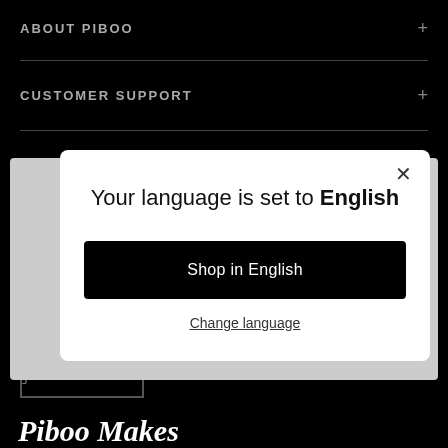ABOUT PIBOO
CUSTOMER SUPPORT
[Figure (screenshot): Language selection modal dialog on a dark e-commerce website (piboo.com). Modal says 'Your language is set to English' with a black 'Shop in English' button and 'Change language' link.]
Piboo Makes